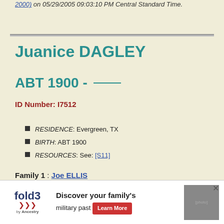2000) on 05/29/2005 09:03:10 PM Central Standard Time.
Juanice DAGLEY
ABT 1900 - ____
ID Number: I7512
RESIDENCE: Evergreen, TX
BIRTH: ABT 1900
RESOURCES: See: [S11]
Family 1 : Joe ELLIS
Jodie ELLIS
Mi...
W...